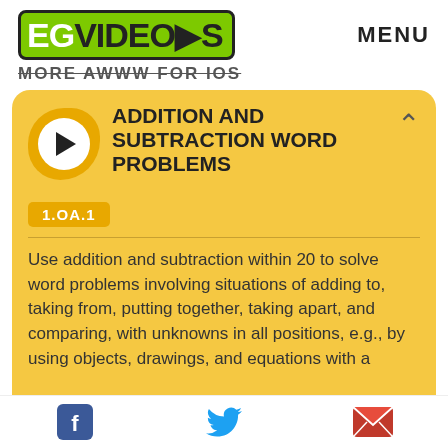EGVIDEOS — MENU
MORE AWWW FOR IOS
ADDITION AND SUBTRACTION WORD PROBLEMS
1.OA.1
Use addition and subtraction within 20 to solve word problems involving situations of adding to, taking from, putting together, taking apart, and comparing, with unknowns in all positions, e.g., by using objects, drawings, and equations with a symbol for the unknown to represent the problem.
Facebook | Twitter | Email